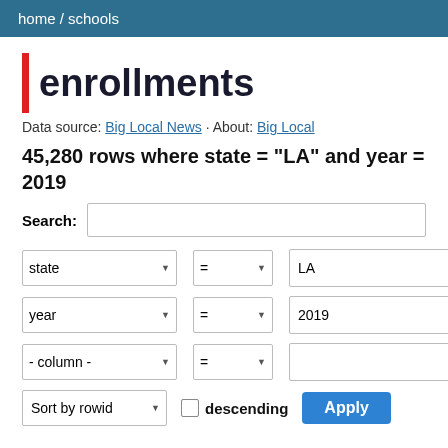home / schools
enrollments
Data source: Big Local News · About: Big Local
45,280 rows where state = "LA" and year = 2019
Search:
state = LA
year = 2019
- column - =
Sort by rowid descending Apply